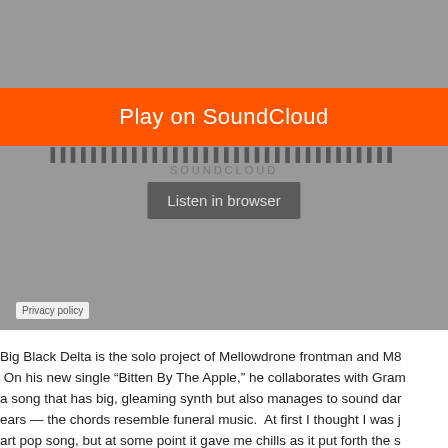[Figure (screenshot): SoundCloud embedded player screenshot showing an orange 'Play on SoundCloud' button, the SoundCloud waveform logo and wordmark, a gray 'Listen in browser' button, and a 'Privacy policy' link at the bottom left, all on a gray background.]
Big Black Delta is the solo project of Mellowdrone frontman and M83 collaborator Jonathan Bates. On his new single "Bitten By The Apple," he collaborates with Grammy-winning Debbie Harry to craft a song that has big, gleaming synth but also manages to sound dark, almost creepy to my hype-weary ears — the chords resemble funeral music. At first I thought I was just listening to a well-executed art pop song, but at some point it gave me chills as it put forth the so-called American dream as a form of possession. Calling it retro is obvious, but it also just doesn't